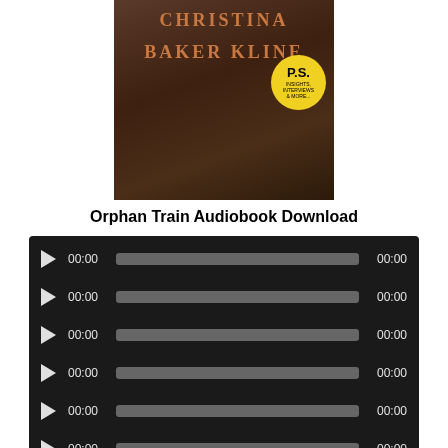[Figure (photo): Book cover of Orphan Train by Christina Baker Kline, showing the author name in orange letters on a dark brown background, with a yellow P.S. badge on the right side.]
Orphan Train Audiobook Download
[Figure (screenshot): Audio player interface with 8 rows, each containing a play button, 00:00 time on left, a grey progress bar, and 00:00 time on right, all on a dark background.]